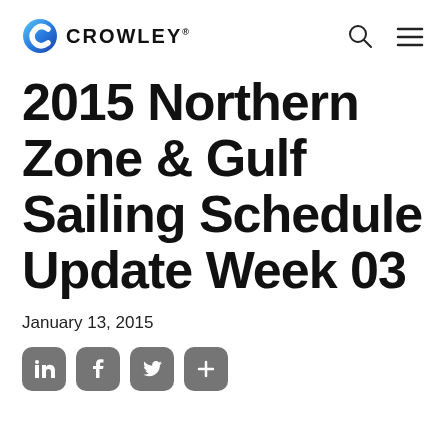[Figure (logo): Crowley logo with blue C icon and CROWLEY wordmark]
2015 Northern Zone & Gulf Sailing Schedule Update Week 03
January 13, 2015
[Figure (infographic): Social sharing buttons: LinkedIn, Facebook, Twitter, Plus]